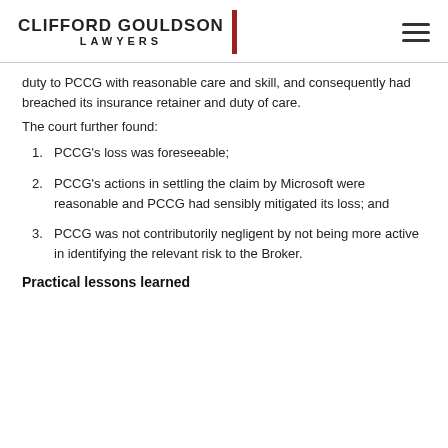CLIFFORD GOULDSON LAWYERS
duty to PCCG with reasonable care and skill, and consequently had breached its insurance retainer and duty of care.
The court further found:
1. PCCG's loss was foreseeable;
2. PCCG's actions in settling the claim by Microsoft were reasonable and PCCG had sensibly mitigated its loss; and
3. PCCG was not contributorily negligent by not being more active in identifying the relevant risk to the Broker.
Practical lessons learned